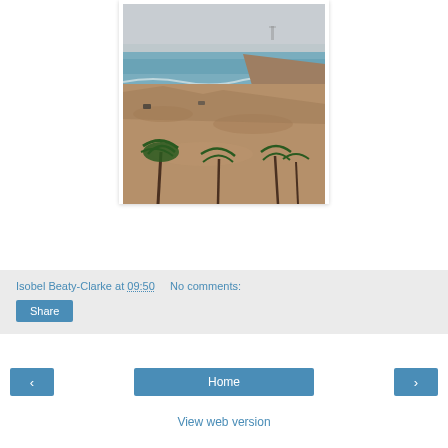[Figure (photo): Coastal landscape photo showing a sandy arid beach with palm trees in the foreground, rocky shoreline, turquoise ocean water, and a hazy sky. An offshore structure is faintly visible in the distance.]
Isobel Beaty-Clarke at 09:50    No comments:
Share
‹
Home
›
View web version